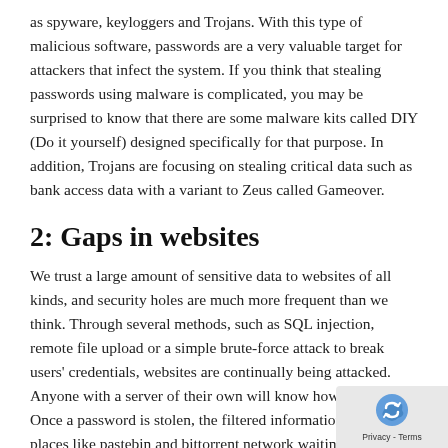as spyware, keyloggers and Trojans. With this type of malicious software, passwords are a very valuable target for attackers that infect the system. If you think that stealing passwords using malware is complicated, you may be surprised to know that there are some malware kits called DIY (Do it yourself) designed specifically for that purpose. In addition, Trojans are focusing on stealing critical data such as bank access data with a variant to Zeus called Gameover.
2: Gaps in websites
We trust a large amount of sensitive data to websites of all kinds, and security holes are much more frequent than we think. Through several methods, such as SQL injection, remote file upload or a simple brute-force attack to break users' credentials, websites are continually being attacked. Anyone with a server of their own will know how true is. Once a password is stolen, the filtered information ends up in places like pastebin and bittorrent network waiting to be used. If you also use the same password on